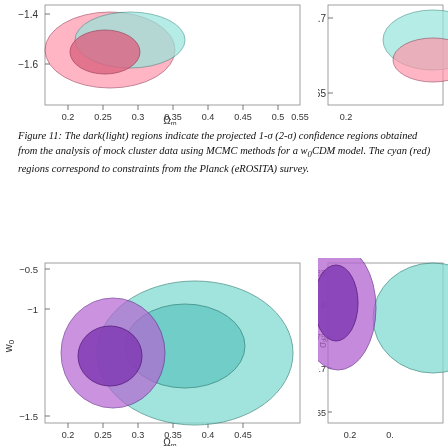[Figure (continuous-plot): Top-left partial contour plot showing w0 vs Omega_m with pink/red 1-sigma and 2-sigma confidence regions, y-axis from -1.6 to -1.4, x-axis from 0.2 to 0.55]
[Figure (continuous-plot): Top-right partial contour plot showing sigma_8 vs Omega_m, partially visible, y-axis from 0.65 to 0.7]
Figure 11: The dark(light) regions indicate the projected 1-σ (2-σ) confidence regions obtained from the analysis of mock cluster data using MCMC methods for a w_0CDM model. The cyan (red) regions correspond to constraints from the Planck (eROSITA) survey.
[Figure (continuous-plot): Bottom-left contour plot showing w0 vs Omega_m with cyan/teal and purple/magenta overlapping 1-sigma and 2-sigma confidence regions. y-axis labeled w_0 from -1.5 to -0.5, x-axis labeled Omega_m from 0.2 to 0.45]
[Figure (continuous-plot): Bottom-right partial contour plot showing sigma_8 vs Omega_m with cyan/teal and purple/magenta regions, y-axis from 0.65 to 0.85, x-axis partially visible starting at 0.2]